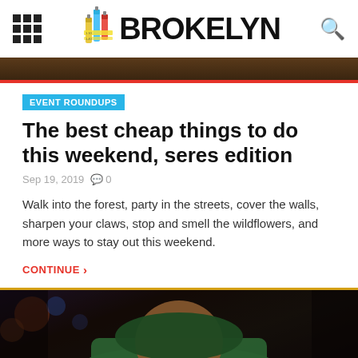BROKELYN
[Figure (photo): Dark banner strip at top of page showing blurred background image]
EVENT ROUNDUPS
The best cheap things to do this weekend, seres edition
Sep 19, 2019  0
Walk into the forest, party in the streets, cover the walls, sharpen your claws, stop and smell the wildflowers, and more ways to stay out this weekend.
CONTINUE
[Figure (photo): Photo of a person wearing a green hat, partially visible at bottom of page]